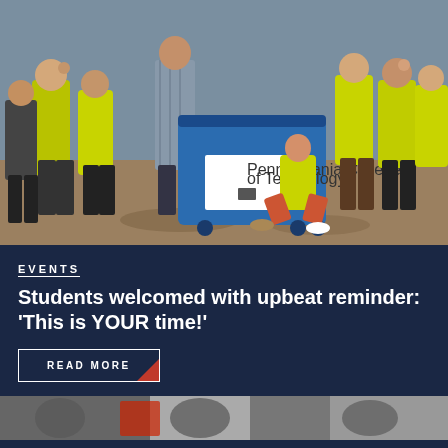[Figure (photo): Group of students and staff wearing bright yellow/neon green t-shirts standing around a large blue rolling bin/cart on a sidewalk. A smiling girl crouches in front of the bin. The scene appears to be a college move-in day event.]
EVENTS
Students welcomed with upbeat reminder: ‘This is YOUR time!’
READ MORE
[Figure (photo): Partial photo at bottom of page, cropped, showing what appears to be another campus event scene.]